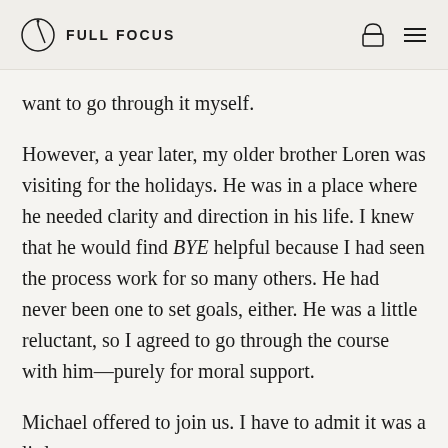FULL FOCUS
want to go through it myself.
However, a year later, my older brother Loren was visiting for the holidays. He was in a place where he needed clarity and direction in his life. I knew that he would find BYE helpful because I had seen the process work for so many others. He had never been one to set goals, either. He was a little reluctant, so I agreed to go through the course with him—purely for moral support.
Michael offered to join us. I have to admit it was a little